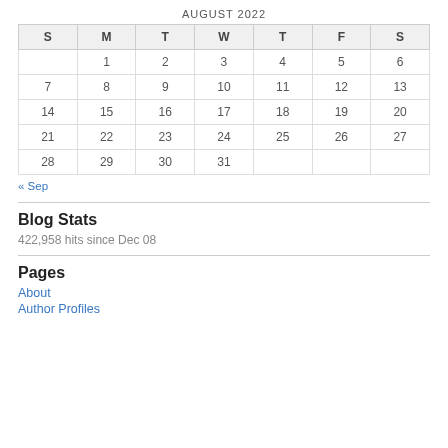AUGUST 2022
| S | M | T | W | T | F | S |
| --- | --- | --- | --- | --- | --- | --- |
|  | 1 | 2 | 3 | 4 | 5 | 6 |
| 7 | 8 | 9 | 10 | 11 | 12 | 13 |
| 14 | 15 | 16 | 17 | 18 | 19 | 20 |
| 21 | 22 | 23 | 24 | 25 | 26 | 27 |
| 28 | 29 | 30 | 31 |  |  |  |
« Sep
Blog Stats
422,958 hits since Dec 08
Pages
About
Author Profiles